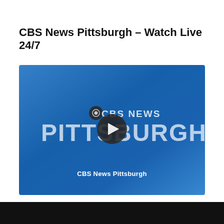CBS News Pittsburgh – Watch Live 24/7
[Figure (screenshot): CBS News Pittsburgh video player thumbnail showing the CBS News Pittsburgh logo with a play button overlay on a blue gradient background, with the text 'CBS News Pittsburgh' at the bottom.]